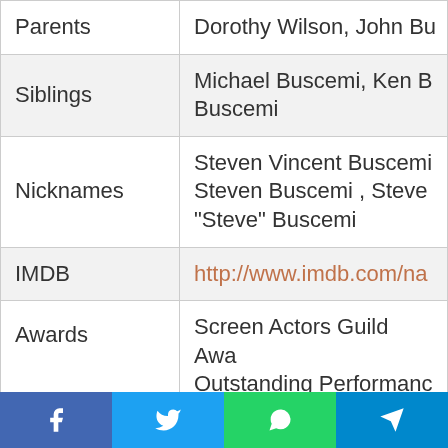| Field | Value |
| --- | --- |
| Parents | Dorothy Wilson, John Bu… |
| Siblings | Michael Buscemi, Ken B… Buscemi |
| Nicknames | Steven Vincent Buscemi, Steven Buscemi , Steve… "Steve" Buscemi |
| IMDB | http://www.imdb.com/na… |
| Awards | Screen Actors Guild Awa… Outstanding Performanc… Actor in a Drama Series, Guild Award for Outstand… Performance by an Ense… Drama Series, Golden G… |